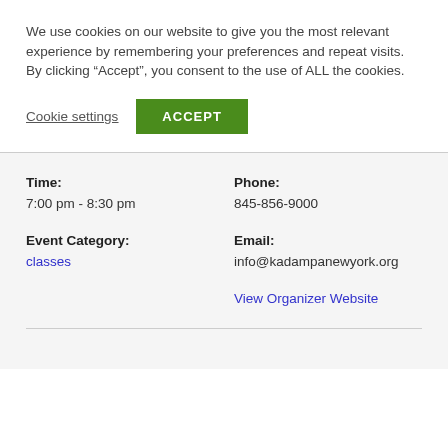We use cookies on our website to give you the most relevant experience by remembering your preferences and repeat visits. By clicking “Accept”, you consent to the use of ALL the cookies.
Cookie settings
ACCEPT
Time:
7:00 pm - 8:30 pm
Phone:
845-856-9000
Event Category:
classes
Email:
info@kadampanewyork.org
View Organizer Website